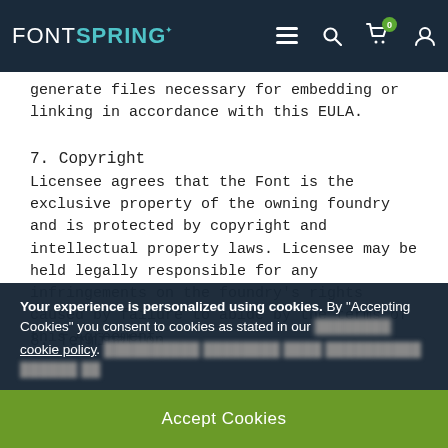FONTSPRING
generate files necessary for embedding or linking in accordance with this EULA.
7. Copyright
Licensee agrees that the Font is the exclusive property of the owning foundry and is protected by copyright and intellectual property laws. Licensee may be held legally responsible for any infringements on the foundry's rights caused by failure to abide by the terms of this Agreement.
8. Termination
Your experience is personalized using cookies. By "Accepting Cookies" you consent to cookies as stated in our cookie policy.
Accept Cookies